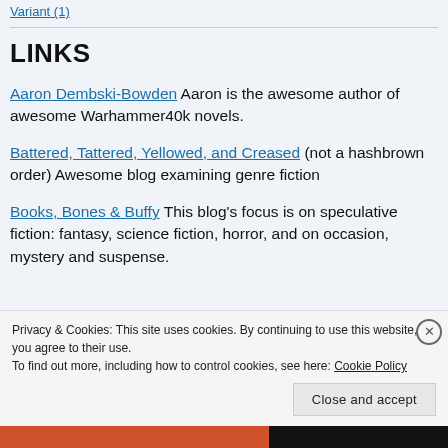Variant (1)
LINKS
Aaron Dembski-Bowden Aaron is the awesome author of awesome Warhammer40k novels.
Battered, Tattered, Yellowed, and Creased (not a hashbrown order) Awesome blog examining genre fiction
Books, Bones & Buffy This blog's focus is on speculative fiction: fantasy, science fiction, horror, and on occasion, mystery and suspense.
Privacy & Cookies: This site uses cookies. By continuing to use this website, you agree to their use. To find out more, including how to control cookies, see here: Cookie Policy
Close and accept